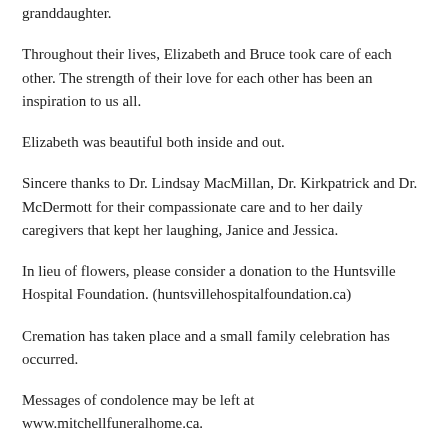granddaughter.
Throughout their lives, Elizabeth and Bruce took care of each other. The strength of their love for each other has been an inspiration to us all.
Elizabeth was beautiful both inside and out.
Sincere thanks to Dr. Lindsay MacMillan, Dr. Kirkpatrick and Dr. McDermott for their compassionate care and to her daily caregivers that kept her laughing, Janice and Jessica.
In lieu of flowers, please consider a donation to the Huntsville Hospital Foundation. (huntsvillehospitalfoundation.ca)
Cremation has taken place and a small family celebration has occurred.
Messages of condolence may be left at www.mitchellfuneralhome.ca.